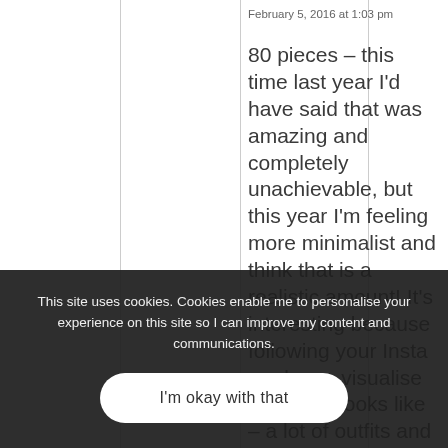February 5, 2016 at 1:03 pm
80 pieces – this time last year I'd have said that was amazing and completely unachievable, but this year I'm feeling more minimalist and think that is a realistic amount! It's interesting because following your Insta made me visualise what that looks like – a lot of outfits and combinations; it never seems like you wear
This site uses cookies. Cookies enable me to personalise your experience on this site so I can improve my content and communications.
I'm okay with that